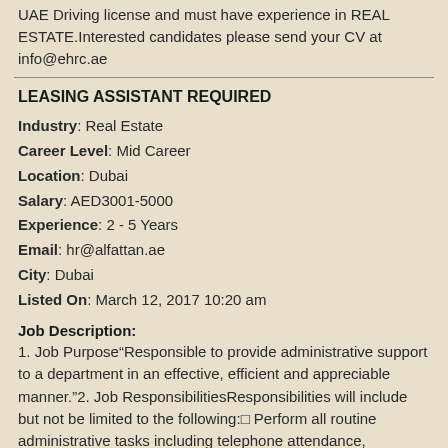UAE Driving license and must have experience in REAL ESTATE.Interested candidates please send your CV at info@ehrc.ae
LEASING ASSISTANT REQUIRED
Industry: Real Estate
Career Level: Mid Career
Location: Dubai
Salary: AED3001-5000
Experience: 2 - 5 Years
Email: hr@alfattan.ae
City: Dubai
Listed On: March 12, 2017 10:20 am
Job Description:
1. Job Purpose“Responsible to provide administrative support to a department in an effective, efficient and appreciable manner.”2. Job ResponsibilitiesResponsibilities will include but not be limited to the following:□ Perform all routine administrative tasks including telephone attendance, correspondence, organizing emails, client and supplier coordination, etc.□ Coordination with the sales team for